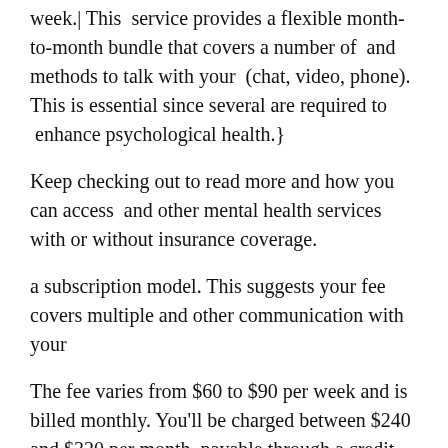week.| This  service provides a flexible month-to-month bundle that covers a number of  and methods to talk with your  (chat, video, phone). This is essential since several are required to  enhance psychological health.}
Keep checking out to read more and how you can access  and other mental health services with or without insurance coverage.
a subscription model. This suggests your fee covers multiple and other communication with your
The fee varies from $60 to $90 per week and is billed monthly. You'll be charged between $240 and $320 per month, payable through a credit card or PayPal.
offers the choice of changing  for any reason or canceling your subscription at any time.